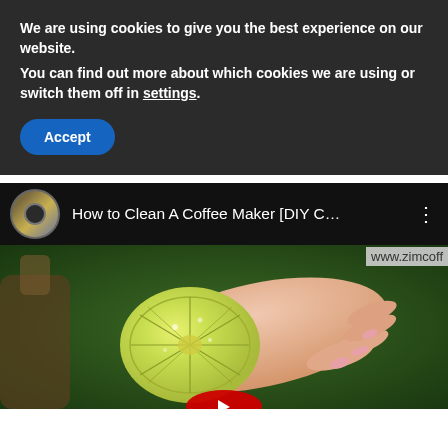We are using cookies to give you the best experience on our website.
You can find out more about which cookies we are using or switch them off in settings.
Accept
[Figure (screenshot): YouTube video embed showing 'How to Clean A Coffee Maker [DIY C...' with a thumbnail of a hand holding a lime/lemon half, channel avatar, and www.zimcoff watermark]